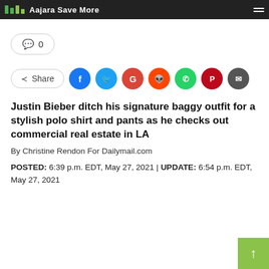Aajara Save More
💬 0
Share
Justin Bieber ditch his signature baggy outfit for a stylish polo shirt and pants as he checks out commercial real estate in LA
By Christine Rendon For Dailymail.com
POSTED: 6:39 p.m. EDT, May 27, 2021 | UPDATE: 6:54 p.m. EDT, May 27, 2021